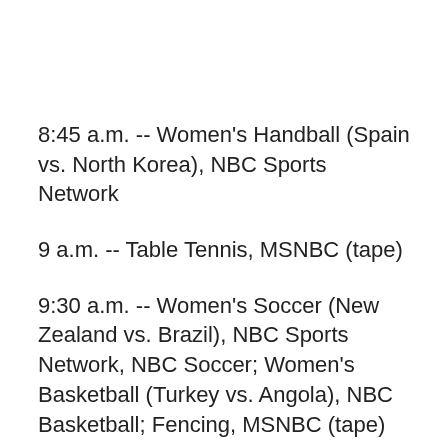8:45 a.m. -- Women's Handball (Spain vs. North Korea), NBC Sports Network
9 a.m. -- Table Tennis, MSNBC (tape)
9:30 a.m. -- Women's Soccer (New Zealand vs. Brazil), NBC Sports Network, NBC Soccer; Women's Basketball (Turkey vs. Angola), NBC Basketball; Fencing, MSNBC (tape)
10:45 a.m. -- Women's Soccer (Canada vs. South Africa), MSNBC
11 a.m.--Swimming, NBC (tape)